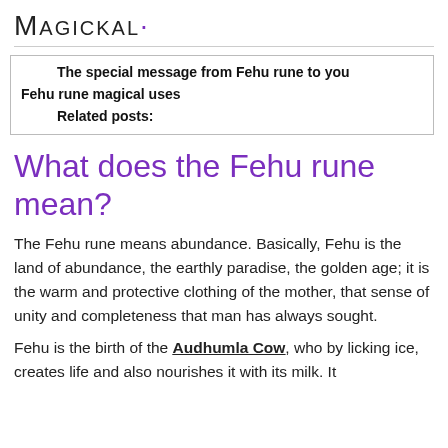MAGICKAL·
The special message from Fehu rune to you
Fehu rune magical uses
Related posts:
What does the Fehu rune mean?
The Fehu rune means abundance. Basically, Fehu is the land of abundance, the earthly paradise, the golden age; it is the warm and protective clothing of the mother, that sense of unity and completeness that man has always sought.
Fehu is the birth of the Audhumla Cow, who by licking ice, creates life and also nourishes it with its milk. It